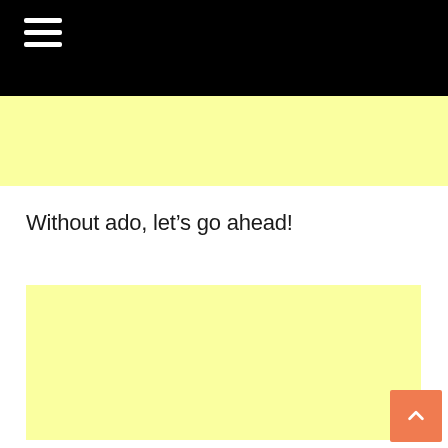[Figure (other): Yellow advertisement banner placeholder at the top]
Without ado, let’s go ahead!
[Figure (other): Large yellow advertisement placeholder block in the body]